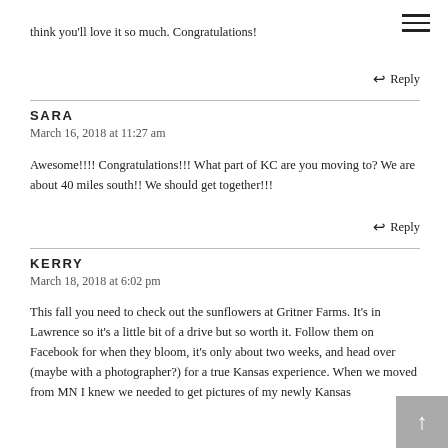think you'll love it so much. Congratulations!
↩ Reply
SARA
March 16, 2018 at 11:27 am
Awesome!!!! Congratulations!!! What part of KC are you moving to? We are about 40 miles south!! We should get together!!!
↩ Reply
KERRY
March 18, 2018 at 6:02 pm
This fall you need to check out the sunflowers at Gritner Farms. It's in Lawrence so it's a little bit of a drive but so worth it. Follow them on Facebook for when they bloom, it's only about two weeks, and head over (maybe with a photographer?) for a true Kansas experience. When we moved from MN I knew we needed to get pictures of my newly Kansas